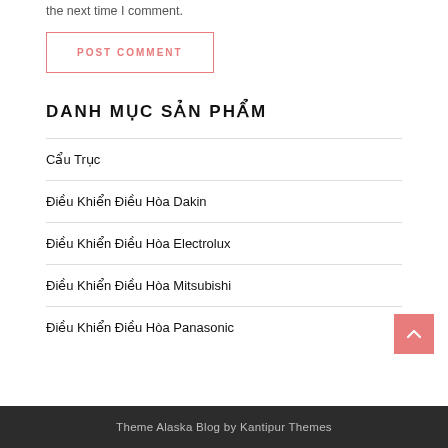the next time I comment.
POST COMMENT
DANH MỤC SẢN PHẨM
Cẩu Trục
Điều Khiển Điều Hòa Dakin
Điều Khiển Điều Hòa Electrolux
Điều Khiển Điều Hòa Mitsubishi
Điều Khiển Điều Hòa Panasonic
Theme Alaska Blog by Kantipur Themes